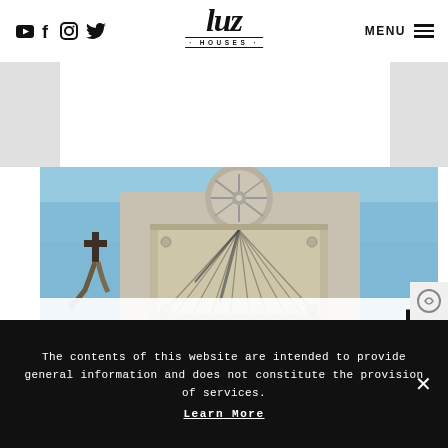Luz Houses – navigation header with social icons (YouTube, Facebook, Instagram, Twitter), logo 'luz HOUSES', MENU button and hamburger icon
[Figure (photo): Close-up photograph of a stone sundial on top of a historic building against a blue sky, with a cross visible on the left side]
The contents of this website are intended to provide general information and does not constitute the provision of services.
Learn More